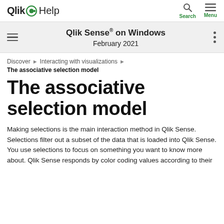Qlik Help   Search   Menu
Qlik Sense® on Windows
February 2021
Discover ▶ Interacting with visualizations ▶ The associative selection model
The associative selection model
Making selections is the main interaction method in Qlik Sense. Selections filter out a subset of the data that is loaded into Qlik Sense. You use selections to focus on something you want to know more about. Qlik Sense responds by color coding values according to their